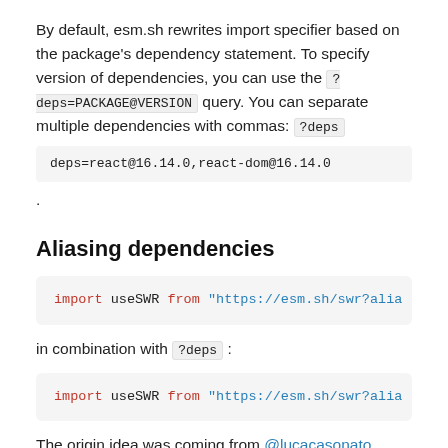By default, esm.sh rewrites import specifier based on the package's dependency statement. To specify version of dependencies, you can use the ?deps=PACKAGE@VERSION query. You can separate multiple dependencies with commas: ?deps=react@16.14.0,react-dom@16.14.0 .
Aliasing dependencies
[Figure (screenshot): Code block showing: import useSWR from "https://esm.sh/swr?alia]
in combination with ?deps :
[Figure (screenshot): Code block showing: import useSWR from "https://esm.sh/swr?alia]
The origin idea was coming from @lucacasonato.